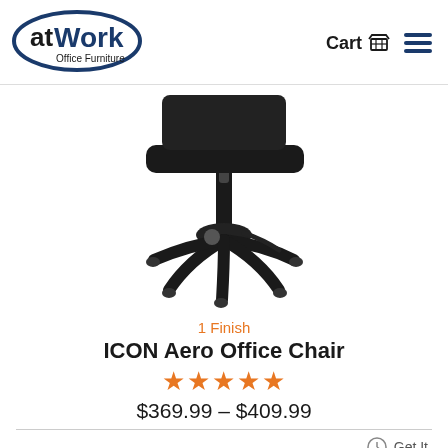[Figure (logo): atWork Office Furniture logo with blue oval border]
Cart 🛒
[Figure (photo): Black office chair (ICON Aero) showing bottom half with five-star base and casters on white background]
1 Finish
ICON Aero Office Chair
★★★★★
$369.99 – $409.99
Get It